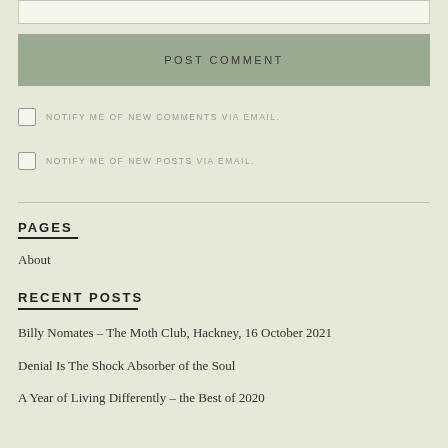[Figure (other): Input text box (form element) at top of page]
POST COMMENT
NOTIFY ME OF NEW COMMENTS VIA EMAIL.
NOTIFY ME OF NEW POSTS VIA EMAIL.
PAGES
About
RECENT POSTS
Billy Nomates – The Moth Club, Hackney, 16 October 2021
Denial Is The Shock Absorber of the Soul
A Year of Living Differently – the Best of 2020